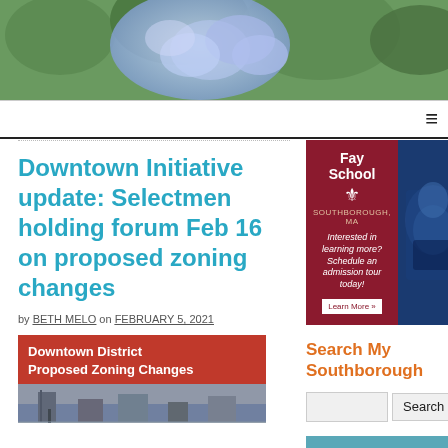[Figure (photo): Blue hydrangea flowers with green leaves, used as website header banner image]
Downtown Initiative update: Selectmen holding forum Feb 16 on proposed zoning changes
by BETH MELO on FEBRUARY 5, 2021
[Figure (photo): Downtown District Proposed Zoning Changes - article thumbnail showing buildings/street with orange-red title banner]
[Figure (photo): Fay School Southborough MA advertisement - Interested in learning more? Schedule an admission tour today! Learn More button]
Search My Southborough
[Figure (photo): Ginny Martins real estate agent advertisement with photo, phone 508.579.1095, ginny@ginnymartins.com, Visit us at 1 Boston Road and 1 Main Street, Southborough]